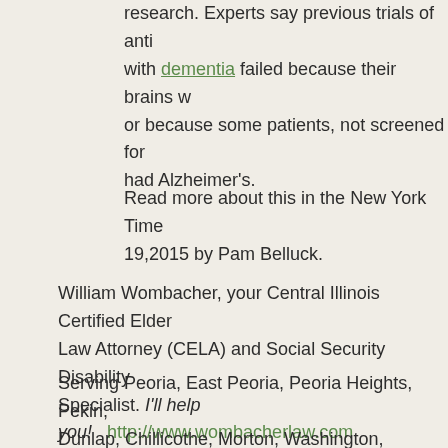research. Experts say previous trials of anti with dementia failed because their brains w or because some patients, not screened for had Alzheimer's.
Read more about this in the New York Time 19,2015 by Pam Belluck.
William Wombacher, your Central Illinois Certified Elder Law Attorney (CELA) and Social Security Disability Specialist. I'll help you!   http://www.wombacherlaw.com
Serving Peoria, East Peoria, Peoria Heights, Pekin, Dunlap, Chillicothe, Morton, Washington, Metamora, Canton, Galesburg, Lacon, Henry, Bloomington, Normal and surrounding cites and counties of Peoria, Tazewell